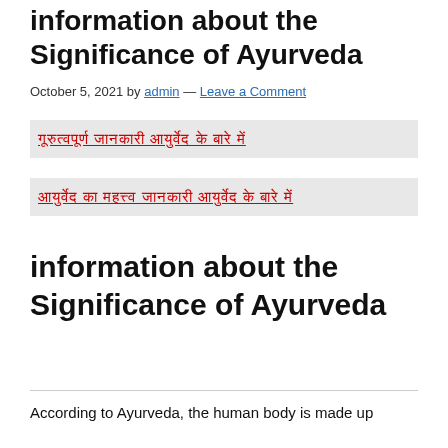information about the Significance of Ayurveda
October 5, 2021 by admin — Leave a Comment
🔴🔴🔴🔴🔴🔴🔴 🔴🔴🔴🔴🔴🔴🔴🔴🔴 🔴🔴🔴🔴🔴🔴 🔴🔴🔴🔴🔴 🔴🔴🔴
🔴🔴🔴🔴🔴🔴🔴🔴🔴🔴 🔴🔴🔴🔴🔴🔴🔴 🔴🔴🔴🔴🔴🔴 🔴🔴🔴🔴🔴 🔴🔴🔴
information about the Significance of Ayurveda
According to Ayurveda, the human body is made up